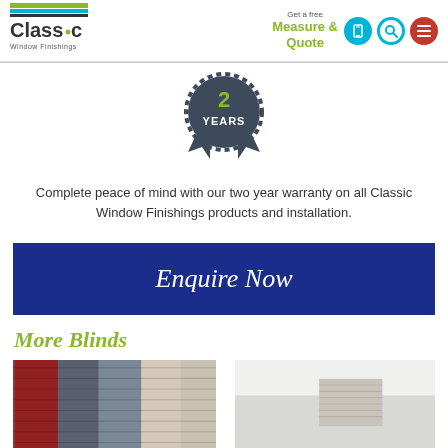[Figure (logo): Classic Window Finishings logo with colored bars and text]
Get a free Measure & Quote
[Figure (illustration): 2 Years warranty badge/seal icon in dark grey]
Complete peace of mind with our two year warranty on all Classic Window Finishings products and installation.
Enquire Now
More Blinds
[Figure (photo): Colorful pleated blind fabric samples in red, grey, cream tones]
[Figure (photo): Interior room showing white ceiling and window blind installation]